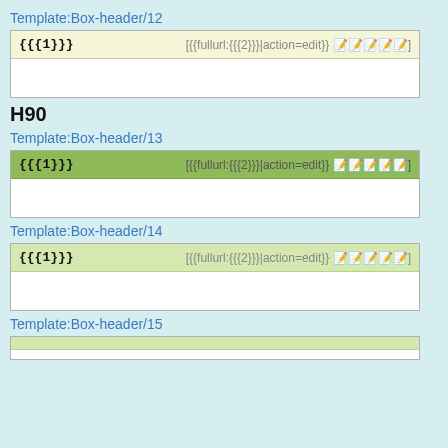Template:Box-header/12
| {{{1}}} | [{{fullurl:{{{2}}}|action=edit}} 編集] |
| --- | --- |
|  |
H90
Template:Box-header/13
| {{{1}}} | [{{fullurl:{{{2}}}|action=edit}} 編集] |
| --- | --- |
|  |
Template:Box-header/14
| {{{1}}} | [{{fullurl:{{{2}}}|action=edit}} 編集] |
| --- | --- |
|  |
Template:Box-header/15